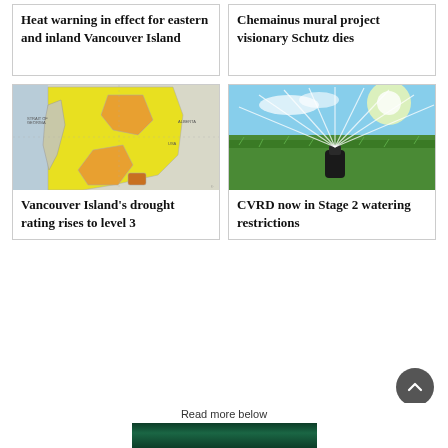Heat warning in effect for eastern and inland Vancouver Island
Chemainus mural project visionary Schutz dies
[Figure (map): Map of British Columbia / Vancouver Island region showing heat warning areas highlighted in yellow and orange]
Vancouver Island’s drought rating rises to level 3
[Figure (photo): Photo of a sprinkler system watering a green lawn against a bright sky]
CVRD now in Stage 2 watering restrictions
Read more below